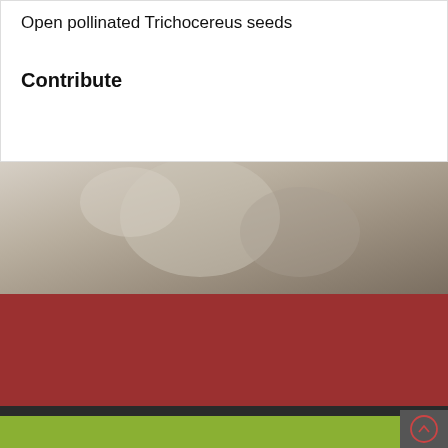Open pollinated Trichocereus seeds
Contribute
[Figure (photo): Blurred/muted photograph of a person with cacti or plants in background, used as decorative section divider]
Cactilicious acknowledges and pays respect to the Peramangk people – the First People of the Mount Lofty Ranges – and recognise their ongoing connection with the land.
WOOF